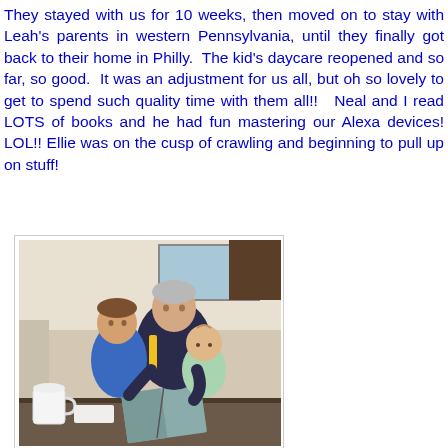They stayed with us for 10 weeks, then moved on to stay with Leah's parents in western Pennsylvania, until they finally got back to their home in Philly.  The kid's daycare reopened and so far, so good.  It was an adjustment for us all, but oh so lovely to get to spend such quality time with them all!!   Neal and I read LOTS of books and he had fun mastering our Alexa devices! LOL!! Ellie was on the cusp of crawling and beginning to pull up on stuff!
[Figure (photo): An elderly man sits at a table reading a book with two young children — a toddler boy in a blue shirt and a baby in a light green outfit. A white mug and some papers are visible on the table.]